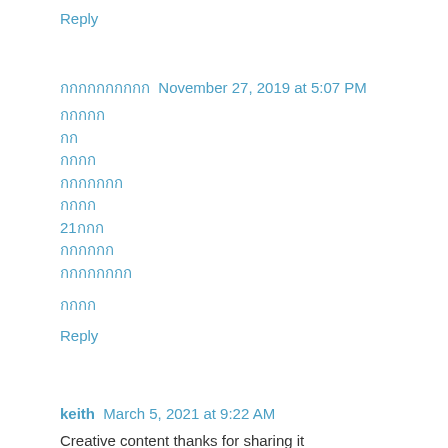Reply
กกกกกกกกกก  November 27, 2019 at 5:07 PM
กกกกก
กก
กกกก
กกกกกกก
กกกก
21กกก
กกกกกก
กกกกกกกก
กกกก
Reply
keith  March 5, 2021 at 9:22 AM
Creative content thanks for sharing it
Canon Printer Error Code #853
Reply